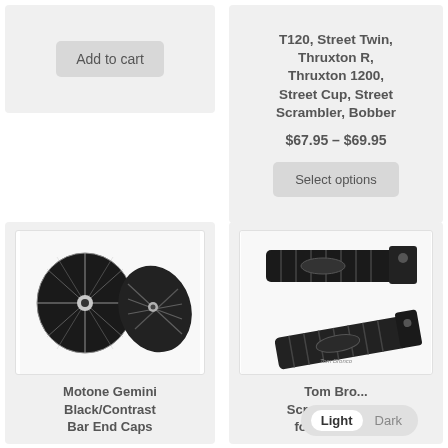[Figure (photo): Add to cart button area for left product card (top)]
[Figure (photo): Product card top right: text showing T120, Street Twin, Thruxton R, Thruxton 1200, Street Cup, Street Scrambler, Bobber with price $67.95 - $69.95 and Select options button]
T120, Street Twin, Thruxton R, Thruxton 1200, Street Cup, Street Scrambler, Bobber
$67.95 – $69.95
[Figure (photo): Motone Gemini Black/Contrast Bar End Caps - two black decorative bar end caps with silver contrast lines]
Motone Gemini Black/Contrast Bar End Caps
[Figure (photo): Tom Bro... Scrambler Pegs for the Liquid - black metal scrambler foot pegs]
Tom Bro... Scrambler Pegs for the Liquid